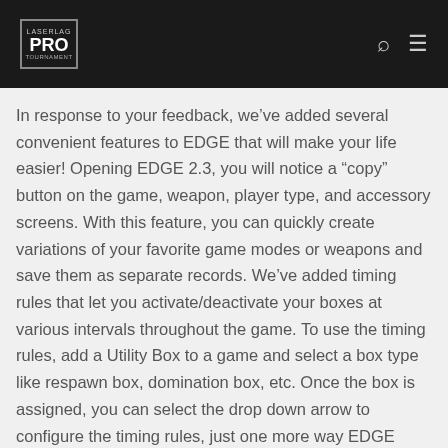PRO
In response to your feedback, we've added several convenient features to EDGE that will make your life easier! Opening EDGE 2.3, you will notice a “copy” button on the game, weapon, player type, and accessory screens. With this feature, you can quickly create variations of your favorite game modes or weapons and save them as separate records. We’ve added timing rules that let you activate/deactivate your boxes at various intervals throughout the game. To use the timing rules, add a Utility Box to a game and select a box type like respawn box, domination box, etc. Once the box is assigned, you can select the drop down arrow to configure the timing rules, just one more way EDGE gives you greater control